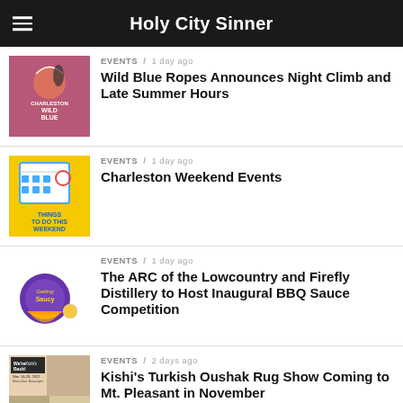Holy City Sinner
Wild Blue Ropes Announces Night Climb and Late Summer Hours
Charleston Weekend Events
The ARC of the Lowcountry and Firefly Distillery to Host Inaugural BBQ Sauce Competition
Kishi's Turkish Oushak Rug Show Coming to Mt. Pleasant in November